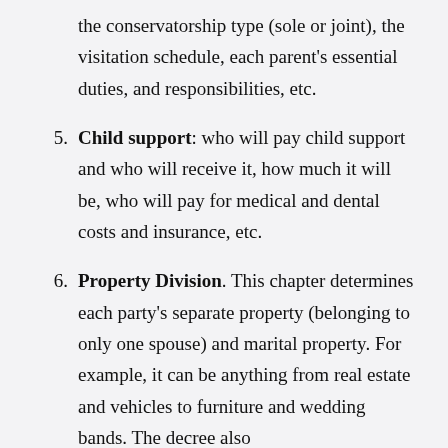the conservatorship type (sole or joint), the visitation schedule, each parent's essential duties, and responsibilities, etc.
Child support: who will pay child support and who will receive it, how much it will be, who will pay for medical and dental costs and insurance, etc.
Property Division. This chapter determines each party's separate property (belonging to only one spouse) and marital property. For example, it can be anything from real estate and vehicles to furniture and wedding bands. The decree also